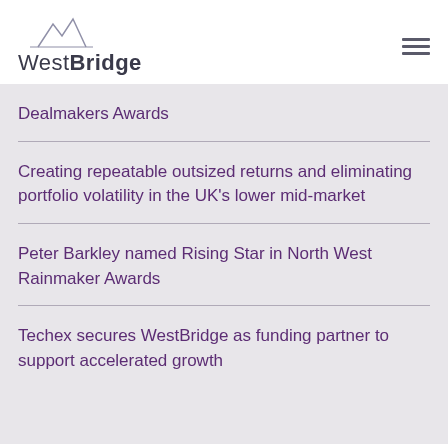WestBridge
Dealmakers Awards
Creating repeatable outsized returns and eliminating portfolio volatility in the UK's lower mid-market
Peter Barkley named Rising Star in North West Rainmaker Awards
Techex secures WestBridge as funding partner to support accelerated growth